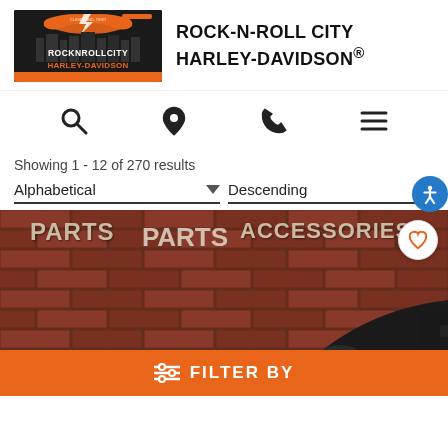[Figure (logo): Rock-N-Roll City Harley-Davidson logo with orange guitar and city skyline on black background]
ROCK-N-ROLL CITY HARLEY-DAVIDSON®
[Figure (infographic): Navigation icons row: search magnifying glass, map pin/location, phone, and hamburger menu]
Showing 1 - 12 of 270 results
Alphabetical   Descending
[Figure (photo): Black Harley-Davidson motorcycle parked against a brick wall with PARTS and ACCESSORIES text painted on wall. A heart/favorite button is visible in upper right corner.]
FILTER BY